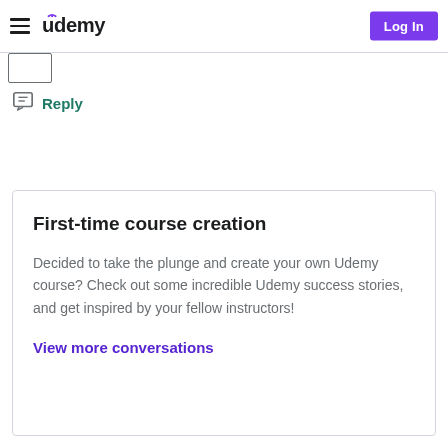Udemy  Log In
Reply
First-time course creation
Decided to take the plunge and create your own Udemy course? Check out some incredible Udemy success stories, and get inspired by your fellow instructors!
View more conversations